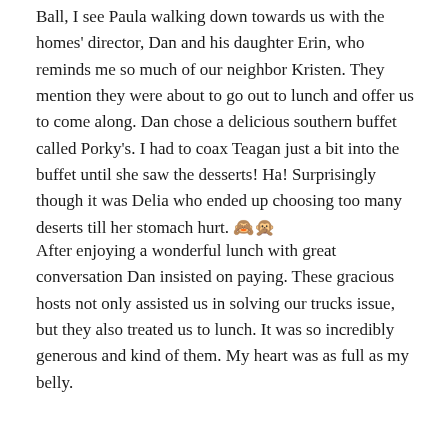Ball, I see Paula walking down towards us with the homes' director, Dan and his daughter Erin, who reminds me so much of our neighbor Kristen. They mention they were about to go out to lunch and offer us to come along. Dan chose a delicious southern buffet called Porky's. I had to coax Teagan just a bit into the buffet until she saw the desserts! Ha! Surprisingly though it was Delia who ended up choosing too many deserts till her stomach hurt. 🙈🙊
After enjoying a wonderful lunch with great conversation Dan insisted on paying. These gracious hosts not only assisted us in solving our trucks issue, but they also treated us to lunch. It was so incredibly generous and kind of them. My heart was as full as my belly.